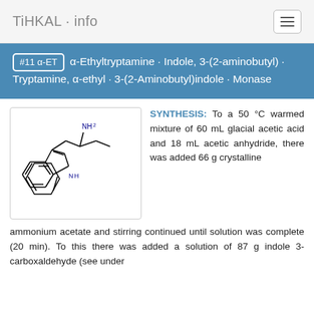TiHKAL · info
#11 α-ET   α-Ethyltryptamine · Indole, 3-(2-aminobutyl) · Tryptamine, α-ethyl · 3-(2-Aminobutyl)indole · Monase
[Figure (engineering-diagram): Chemical structure drawing of α-Ethyltryptamine showing an indole ring system with an NH group, connected to a side chain bearing an NH2 group and an ethyl group.]
SYNTHESIS: To a 50 °C warmed mixture of 60 mL glacial acetic acid and 18 mL acetic anhydride, there was added 66 g crystalline ammonium acetate and stirring continued until solution was complete (20 min). To this there was added a solution of 87 g indole 3-carboxaldehyde (see under